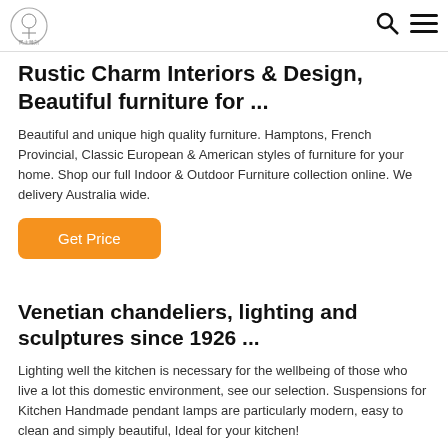[Logo] [Search icon] [Menu icon]
Rustic Charm Interiors & Design, Beautiful furniture for ...
Beautiful and unique high quality furniture. Hamptons, French Provincial, Classic European & American styles of furniture for your home. Shop our full Indoor & Outdoor Furniture collection online. We delivery Australia wide.
[Figure (other): Orange 'Get Price' button]
Venetian chandeliers, lighting and sculptures since 1926 ...
Lighting well the kitchen is necessary for the wellbeing of those who live a lot this domestic environment, see our selection. Suspensions for Kitchen Handmade pendant lamps are particularly modern, easy to clean and simply beautiful, Ideal for your kitchen!
[Figure (other): Orange button (partially visible at bottom)]